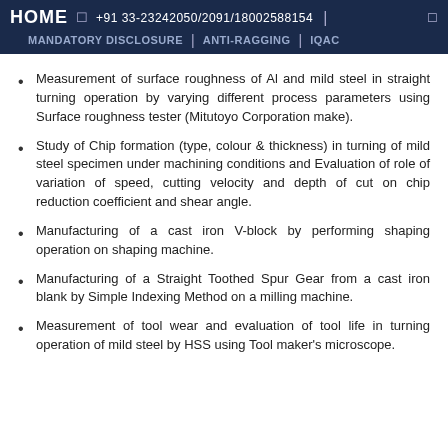HOME  +91 33-23242050/2091/18002588154 | MANDATORY DISCLOSURE | ANTI-RAGGING | IQAC
Measurement of surface roughness of Al and mild steel in straight turning operation by varying different process parameters using Surface roughness tester (Mitutoyo Corporation make).
Study of Chip formation (type, colour & thickness) in turning of mild steel specimen under machining conditions and Evaluation of role of variation of speed, cutting velocity and depth of cut on chip reduction coefficient and shear angle.
Manufacturing of a cast iron V-block by performing shaping operation on shaping machine.
Manufacturing of a Straight Toothed Spur Gear from a cast iron blank by Simple Indexing Method on a milling machine.
Measurement of tool wear and evaluation of tool life in turning operation of mild steel by HSS using Tool maker's microscope.